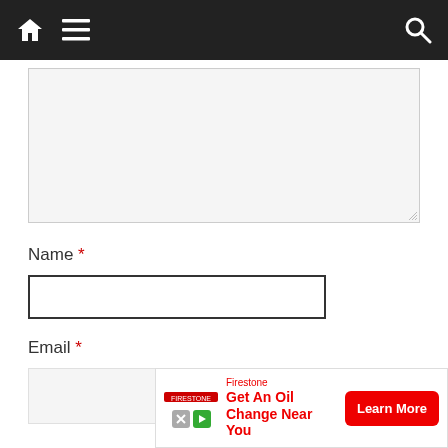[Figure (screenshot): Navigation bar with home icon, hamburger menu icon on left, and search icon on right, dark background with blue top stripe]
[Figure (screenshot): Textarea input box (light gray background, resizable) for comment entry]
Name *
[Figure (screenshot): Name text input field with dark border]
Email *
[Figure (screenshot): Email text input field with light gray background]
Website
[Figure (screenshot): Advertisement banner: Firestone - Get An Oil Change Near You - Learn More button]